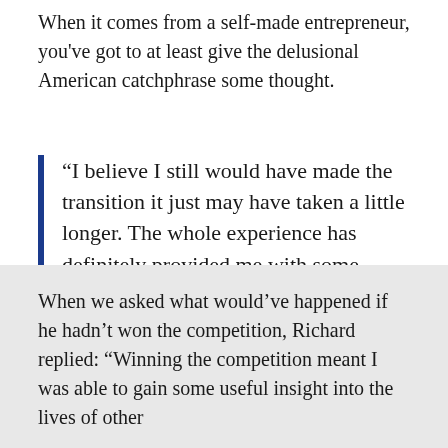When it comes from a self-made entrepreneur, you've got to at least give the delusional American catchphrase some thought.
“I believe I still would have made the transition it just may have taken a little longer. The whole experience has definitely provided me with some opportunities that I otherwise wouldn’t have had.”
When we asked what would’ve happened if he hadn’t won the competition, Richard replied: “Winning the competition meant I was able to gain some useful insight into the lives of other